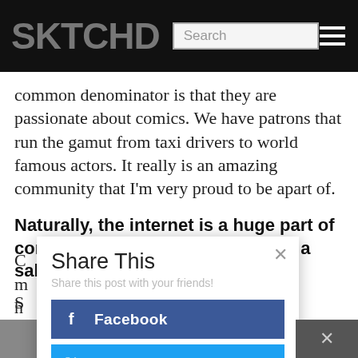SKTCHD
common denominator is that they are passionate about comics. We have patrons that run the gamut from taxi drivers to world famous actors. It really is an amazing community that I'm very proud to be apart of.
Naturally, the internet is a huge part of comic art sales. How important of a sales channel is your site?
S... gl... ar... so...
[Figure (screenshot): Share This modal dialog with Facebook and Twitter share buttons, close button in top right corner, subtitle 'Share this post with your friends!']
C... m... h...